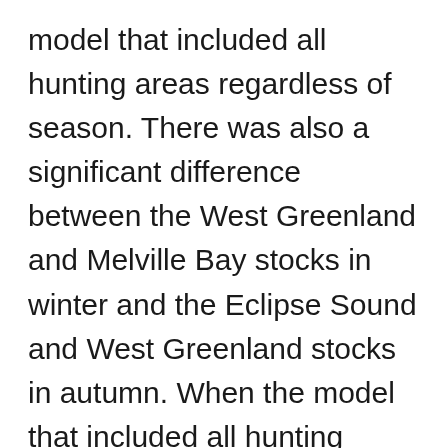model that included all hunting areas regardless of season. There was also a significant difference between the West Greenland and Melville Bay stocks in winter and the Eclipse Sound and West Greenland stocks in autumn. When the model that included all hunting areas was compared to that which considered males and females independently, there was some overlap with the Melville Bay and West Greenland stocks for the females not seen in the model that combined males and females, but the discrimination among males was not significantly different from